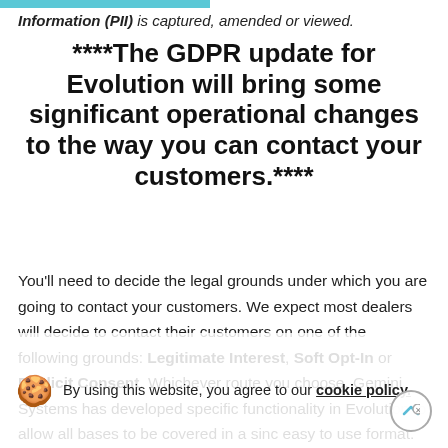Information (PII) is captured, amended or viewed.
****The GDPR update for Evolution will bring some significant operational changes to the way you can contact your customers.****
You'll need to decide the legal grounds under which you are going to contact your customers. We expect most dealers will decide to contact their customers on one of the following grounds: Legitimate Interest, Soft Opt-In or Explicit Consent. Whichever route you choose, Gemini Systems has developed specific functionality in Evolution to allow all bases to be covered in a single easy to use format. Every customer record will have a section where users can record whether the customer
By using this website, you agree to our cookie policy.